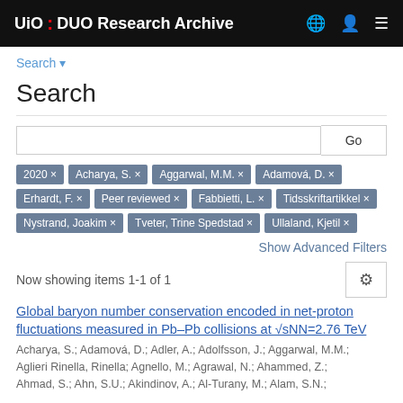UiO: DUO Research Archive
Search ▾
Search
Go
2020 ×
Acharya, S. ×
Aggarwal, M.M. ×
Adamová, D. ×
Erhardt, F. ×
Peer reviewed ×
Fabbietti, L. ×
Tidsskriftartikkel ×
Nystrand, Joakim ×
Tveter, Trine Spedstad ×
Ullaland, Kjetil ×
Show Advanced Filters
Now showing items 1-1 of 1
Global baryon number conservation encoded in net-proton fluctuations measured in Pb–Pb collisions at √sNN=2.76 TeV
Acharya, S.; Adamová, D.; Adler, A.; Adolfsson, J.; Aggarwal, M.M.; Aglieri Rinella, Rinella; Agnello, M.; Agrawal, N.; Ahammed, Z.; Ahmad, S.; Ahn, S.U.; Akindinov, A.; Al-Turany, M.; Alam, S.N.;